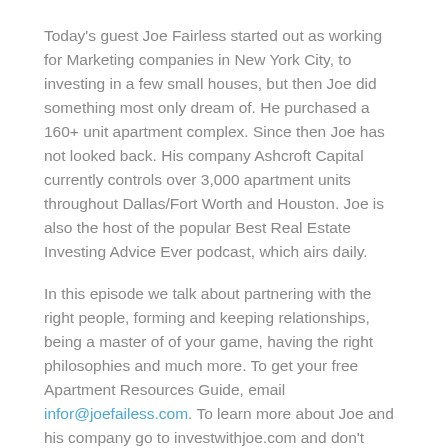Today's guest Joe Fairless started out as working for Marketing companies in New York City, to investing in a few small houses, but then Joe did something most only dream of. He purchased a 160+ unit apartment complex. Since then Joe has not looked back. His company Ashcroft Capital currently controls over 3,000 apartment units throughout Dallas/Fort Worth and Houston. Joe is also the host of the popular Best Real Estate Investing Advice Ever podcast, which airs daily.
In this episode we talk about partnering with the right people, forming and keeping relationships, being a master of of your game, having the right philosophies and much more. To get your free Apartment Resources Guide, email infor@joefailess.com. To learn more about Joe and his company go to investwithjoe.com and don't forget to listen to Joe's Podcast! This podcast made possible by our friends at